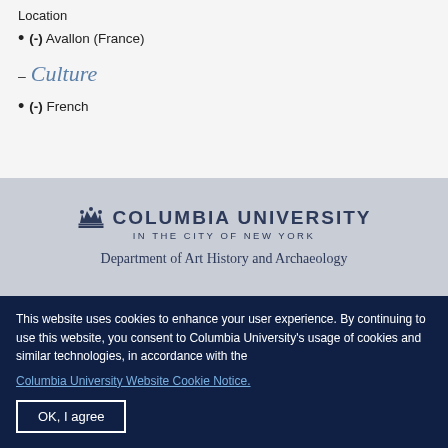Location
(-) Avallon (France)
- Culture
(-) French
[Figure (logo): Columbia University crown logo with text: COLUMBIA UNIVERSITY IN THE CITY OF NEW YORK, Department of Art History and Archaeology]
This website uses cookies to enhance your user experience. By continuing to use this website, you consent to Columbia University's usage of cookies and similar technologies, in accordance with the Columbia University Website Cookie Notice.
OK, I agree